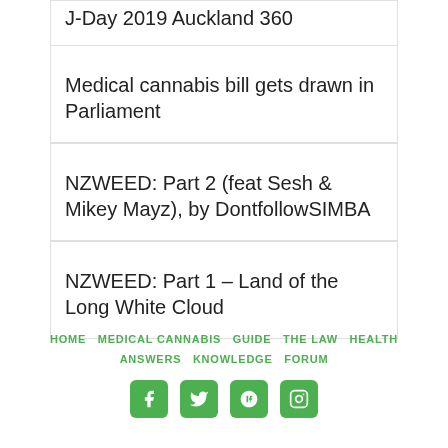J-Day 2019 Auckland 360
Medical cannabis bill gets drawn in Parliament
NZWEED: Part 2 (feat Sesh & Mikey Mayz), by DontfollowSIMBA
NZWEED: Part 1 – Land of the Long White Cloud
HOME  MEDICAL CANNABIS  GUIDE  THE LAW  HEALTH  ANSWERS  KNOWLEDGE  FORUM